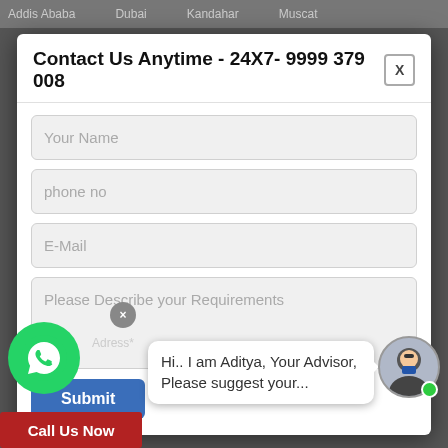Addis Ababa   Dubai   Kandahar   Muscat
Contact Us Anytime - 24X7- 9999 379 008
Your Name
phone no
E-Mail
Please Describe your Requirements
Submit
Hi.. I am Aditya, Your Advisor, Please suggest your...
Call Us Now